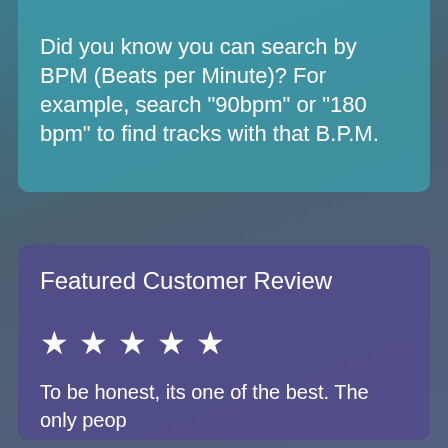Did you know you can search by BPM (Beats per Minute)? For example, search "90bpm" or "180 bpm" to find tracks with that B.P.M.
Featured Customer Review
★ ★ ★ ★ ★
To be honest, its one of the best. The only peop